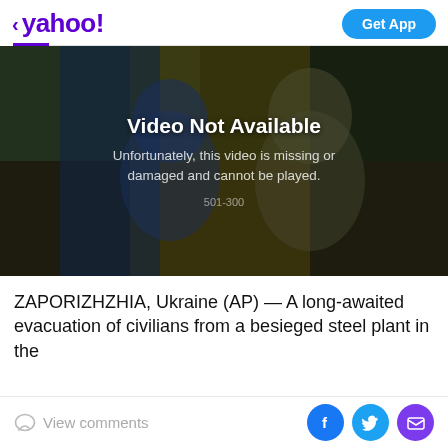< yahoo!  Get App
[Figure (screenshot): Yahoo News app screenshot showing a video player with 'Video Not Available' message overlaid on a photo of two people in front of a Ukrainian flag. The message reads: 'Video Not Available. Unfortunately, this video is missing or damaged and cannot be played. 501-300']
ZAPORIZHZHIA, Ukraine (AP) — A long-awaited evacuation of civilians from a besieged steel plant in the
View comments  [Facebook] [Twitter] [Email]